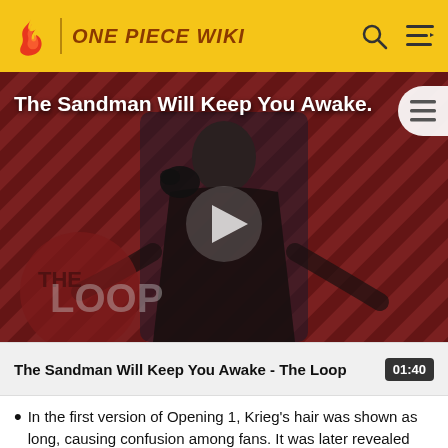ONE PIECE WIKI
[Figure (screenshot): Video thumbnail for 'The Sandman Will Keep You Awake - The Loop' showing a dark-dressed figure with a raven against a red and black striped background with The Loop branding. A play button is overlaid in the center.]
The Sandman Will Keep You Awake - The Loop 01:40
In the first version of Opening 1, Krieg's hair was shown as long, causing confusion among fans. It was later revealed this look was taken from his wanted